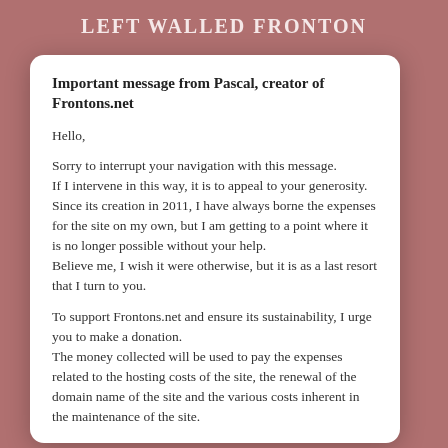Left walled fronton
Important message from Pascal, creator of Frontons.net
Hello,
Sorry to interrupt your navigation with this message. If I intervene in this way, it is to appeal to your generosity. Since its creation in 2011, I have always borne the expenses for the site on my own, but I am getting to a point where it is no longer possible without your help. Believe me, I wish it were otherwise, but it is as a last resort that I turn to you.
To support Frontons.net and ensure its sustainability, I urge you to make a donation. The money collected will be used to pay the expenses related to the hosting costs of the site, the renewal of the domain name of the site and the various costs inherent in the maintenance of the site.
Thank you!
[Figure (other): Yellow Donate button with rounded pill shape]
Close this message